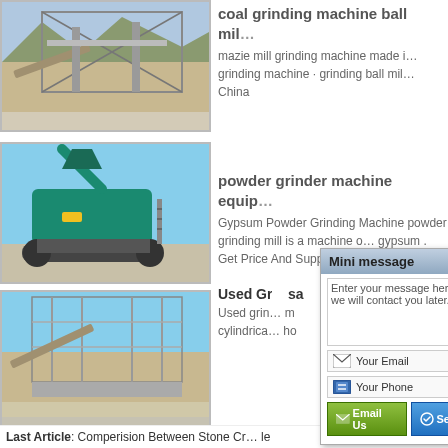[Figure (photo): Construction/mining facility with large industrial structures and conveyor, outdoor setting with mountains]
coal grinding machine ball mill
mazie mill grinding machine made in · grinding machine · grinding ball mill · China
[Figure (photo): Teal/green mobile crushing machine on tracks outdoors]
powder grinder machine equip
Gypsum Powder Grinding Machine powder grinding mill is a machine o... gypsum . Get Price And Support On... Grinding
[Figure (photo): Industrial construction facility with scaffolding and conveyor structures outdoors]
Used Grinding sa
Used grin... m cylindrica... ho
[Figure (other): Mini message dialog box with text area, email and phone fields, and Email Us / Send buttons]
Last Article: Comperision Between Stone Cr... le